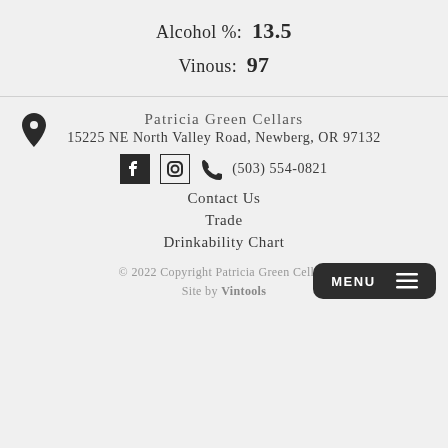Alcohol %:  13.5
Vinous:  97
Patricia Green Cellars
15225 NE North Valley Road, Newberg, OR 97132
(503) 554-0821
Contact Us
Trade
Drinkability Chart
© 2022 Copyright Patricia Green Cellars
Site by Vintools